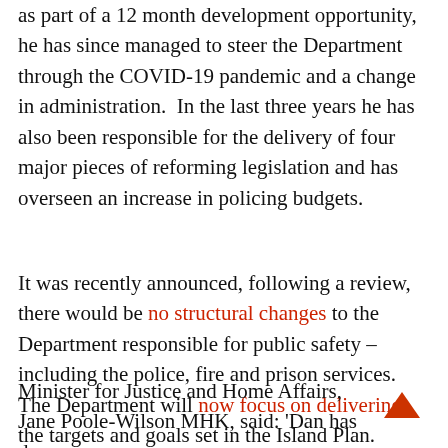as part of a 12 month development opportunity, he has since managed to steer the Department through the COVID-19 pandemic and a change in administration.  In the last three years he has also been responsible for the delivery of four major pieces of reforming legislation and has overseen an increase in policing budgets.
It was recently announced, following a review, there would be no structural changes to the Department responsible for public safety – including the police, fire and prison services. The Department will now focus on delivering the targets and goals set in the Island Plan.
Minister for Justice and Home Affairs, Jane Poole-Wilson MHK, said: 'Dan has done an